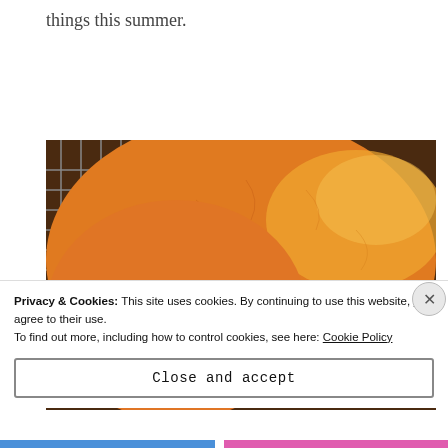things this summer.
[Figure (photo): Close-up photo of a large orange/golden cookie or baked good on a cooling rack, with a recipe card partially visible at the bottom reading 'My Favorite Recipe']
Privacy & Cookies: This site uses cookies. By continuing to use this website, you agree to their use.
To find out more, including how to control cookies, see here: Cookie Policy
Close and accept